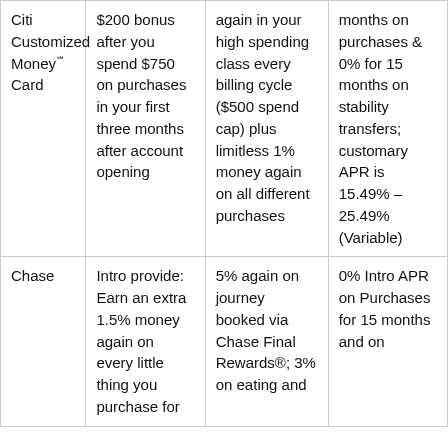| Citi Customized Money℠ Card | $200 bonus after you spend $750 on purchases in your first three months after account opening | again in your high spending class every billing cycle ($500 spend cap) plus limitless 1% money again on all different purchases | months on purchases & 0% for 15 months on stability transfers; customary APR is 15.49% – 25.49% (Variable) |
| Chase | Intro provide: Earn an extra 1.5% money again on every little thing you purchase for | 5% again on journey booked via Chase Final Rewards®; 3% on eating and | 0% Intro APR on Purchases for 15 months and on |